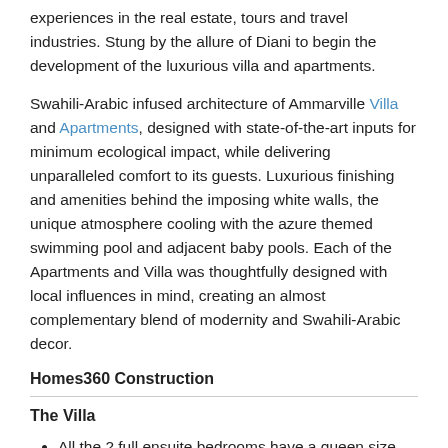experiences in the real estate, tours and travel industries. Stung by the allure of Diani to begin the development of the luxurious villa and apartments.
Swahili-Arabic infused architecture of Ammarville Villa and Apartments, designed with state-of-the-art inputs for minimum ecological impact, while delivering unparalleled comfort to its guests. Luxurious finishing and amenities behind the imposing white walls, the unique atmosphere cooling with the azure themed swimming pool and adjacent baby pools. Each of the Apartments and Villa was thoughtfully designed with local influences in mind, creating an almost complementary blend of modernity and Swahili-Arabic decor.
Homes360 Construction
The Villa
All the 2 full ensuite bedrooms have a queen size bed
All bedrooms have has access to the balcony.
Outdoor and Rooftop terrace, with view of the pool and garden.